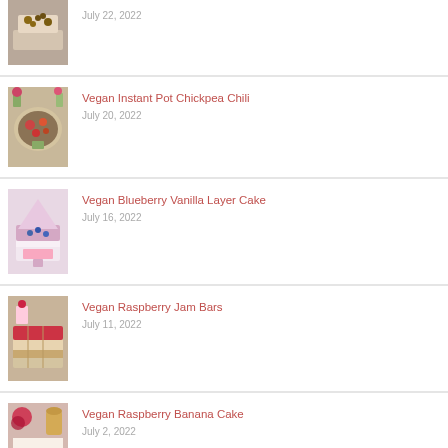[Figure (photo): Partial image of a cake topped with nuts/crumble]
July 22, 2022
[Figure (photo): Bowl of vegan chickpea chili with vegetables]
Vegan Instant Pot Chickpea Chili
July 20, 2022
[Figure (photo): Vegan blueberry vanilla layer cake slice]
Vegan Blueberry Vanilla Layer Cake
July 16, 2022
[Figure (photo): Vegan raspberry jam bars on a tray]
Vegan Raspberry Jam Bars
July 11, 2022
[Figure (photo): Vegan raspberry banana cake slice]
Vegan Raspberry Banana Cake
July 2, 2022